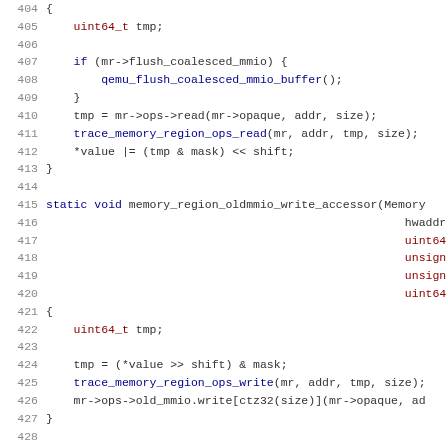Source code listing, lines 404-435, C code for memory region accessor functions in QEMU